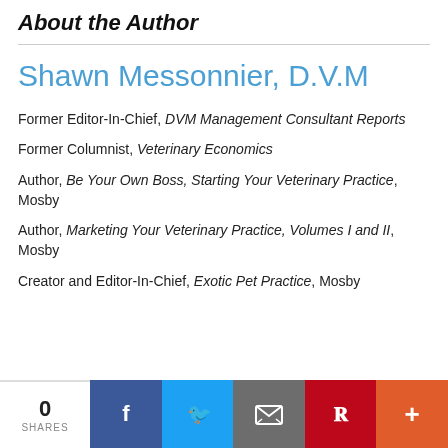About the Author
Shawn Messonnier, D.V.M
Former Editor-In-Chief, DVM Management Consultant Reports
Former Columnist, Veterinary Economics
Author, Be Your Own Boss, Starting Your Veterinary Practice, Mosby
Author, Marketing Your Veterinary Practice, Volumes I and II, Mosby
Creator and Editor-In-Chief, Exotic Pet Practice, Mosby
0 SHARES | Facebook | Twitter | Email | Pinterest | More